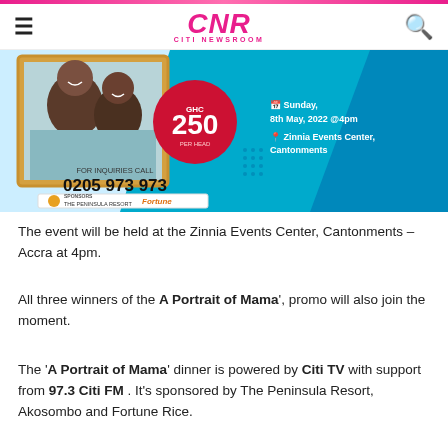CNR CITI NEWSROOM
[Figure (photo): Advertisement banner for 'A Portrait of Mama' Mother's Day dinner event. Shows two women smiling, GHC 250 per head price, event on Sunday 8th May 2022 at 4pm at Zinnia Events Center Cantonments, inquiries 0205 973 973, sponsored by The Peninsula Resort and Fortune.]
The event will be held at the Zinnia Events Center, Cantonments – Accra at 4pm.
All three winners of the A Portrait of Mama', promo will also join the moment.
The 'A Portrait of Mama' dinner is powered by Citi TV with support from 97.3 Citi FM . It's sponsored by The Peninsula Resort, Akosombo and Fortune Rice.